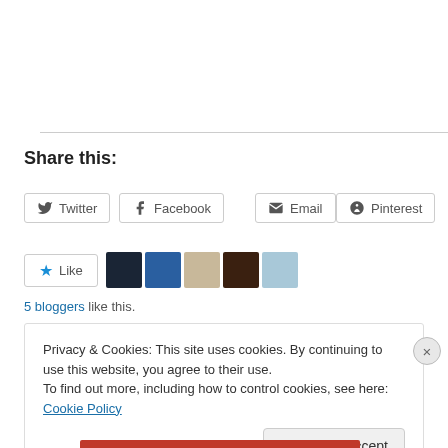Share this:
Twitter
Facebook
Email
Pinterest
5 bloggers like this.
Privacy & Cookies: This site uses cookies. By continuing to use this website, you agree to their use. To find out more, including how to control cookies, see here: Cookie Policy
Close and accept